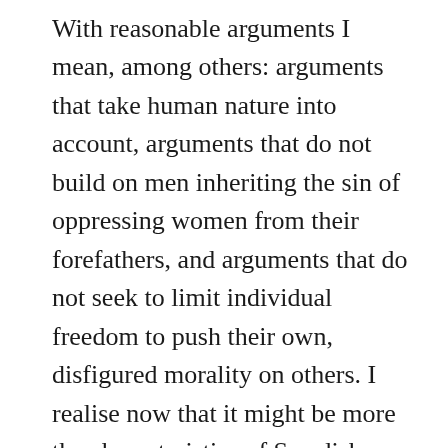With reasonable arguments I mean, among others: arguments that take human nature into account, arguments that do not build on men inheriting the sin of oppressing women from their forefathers, and arguments that do not seek to limit individual freedom to push their own, disfigured morality on others. I realise now that it might be more the characteristics of Swedish feminism than of the feminism you argue for. My comment was completely inappropriate here and I hope you are willing to accept my apologies.